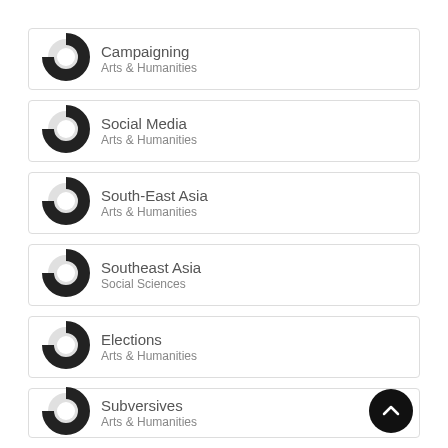Campaigning
Arts & Humanities
Social Media
Arts & Humanities
South-East Asia
Arts & Humanities
Southeast Asia
Social Sciences
Elections
Arts & Humanities
Subversives
Arts & Humanities